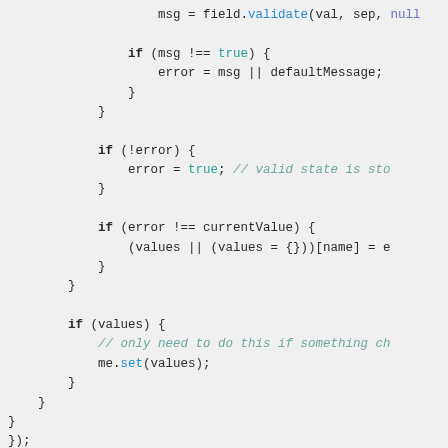[Figure (screenshot): Code snippet showing JavaScript code with syntax highlighting on a light gray background. The code shows validation logic with if statements checking msg, error, and currentValue, then setting values.]